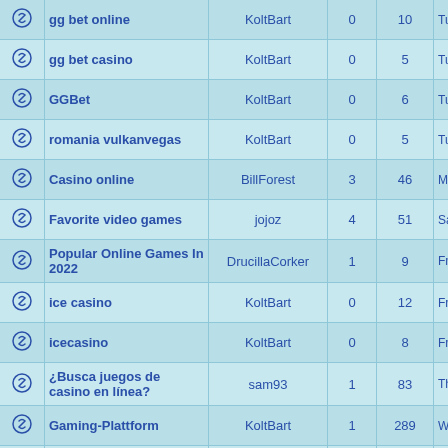|  | Title | User | 0 | 10 | Tue Au |
| --- | --- | --- | --- | --- | --- |
|  | gg bet online | KoltBart | 0 | 10 | Tue Au |
|  | gg bet casino | KoltBart | 0 | 5 | Tue Au |
|  | GGBet | KoltBart | 0 | 6 | Tue Au |
|  | romania vulkanvegas | KoltBart | 0 | 5 | Tue Au |
|  | Casino online | BillForest | 3 | 46 | Mon A |
|  | Favorite video games | jojoz | 4 | 51 | Sat Au |
|  | Popular Online Games In 2022 | DrucillaCorker | 1 | 9 | Fri Au |
|  | ice casino | KoltBart | 0 | 12 | Fri Au |
|  | icecasino | KoltBart | 0 | 8 | Fri Au |
|  | ¿Busca juegos de casino en línea? | sam93 | 1 | 83 | Thu Au |
|  | Gaming-Plattform | KoltBart | 1 | 289 | Wed A |
|  | Tarkov | KoltBart | 2 | 31 | Wed A |